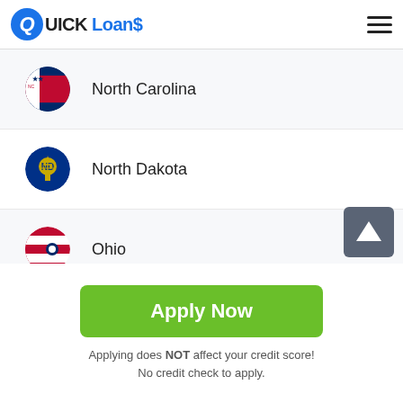Quick Loans
North Carolina
North Dakota
Ohio
Oklahoma
Oregon
Pennsylvania
[Figure (other): Scroll-to-top button with upward arrow]
Apply Now
Applying does NOT affect your credit score! No credit check to apply.